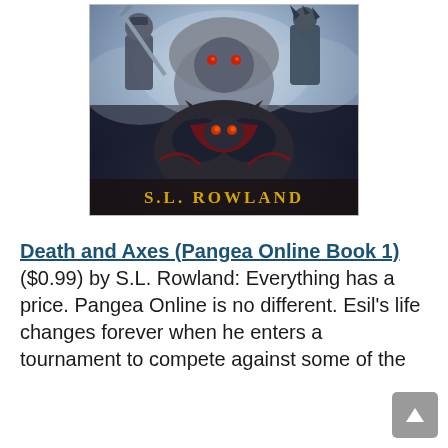[Figure (illustration): Fantasy game book cover art showing armored warriors/monsters in battle, with a large creature at center. Author name 'S.L. ROWLAND' displayed in gold text at the bottom of the cover image.]
Death and Axes (Pangea Online Book 1) ($0.99) by S.L. Rowland: Everything has a price. Pangea Online is no different. Esil's life changes forever when he enters a tournament to compete against some of the